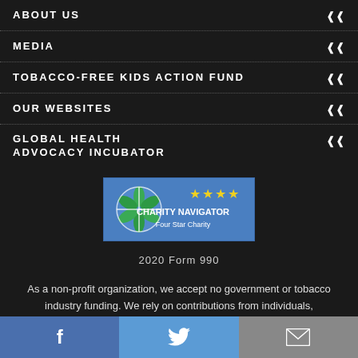ABOUT US
MEDIA
TOBACCO-FREE KIDS ACTION FUND
OUR WEBSITES
GLOBAL HEALTH ADVOCACY INCUBATOR
[Figure (logo): Charity Navigator Four Star Charity badge with blue background and yellow stars]
2020 Form 990
As a non-profit organization, we accept no government or tobacco industry funding. We rely on contributions from individuals, philanthropic foundations, corporations and other non-profit
Facebook | Twitter | Email